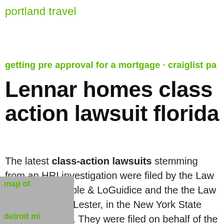portland travel
getting pre approval for a mortgage · craiglist pa
Lennar homes class action lawsuit florida
The latest class-action lawsuits stemming from an HRI investigation were filed by the Law Offices of Grimble & LoGuidice and the the Law Offices of Jack Lester, in the New York State Supreme Court. They were filed on behalf of the tenants at 230 West 147th Street, a six-story
[Figure (other): Gray thumbnail image with green text labels 'map of' and 'detroit mi']